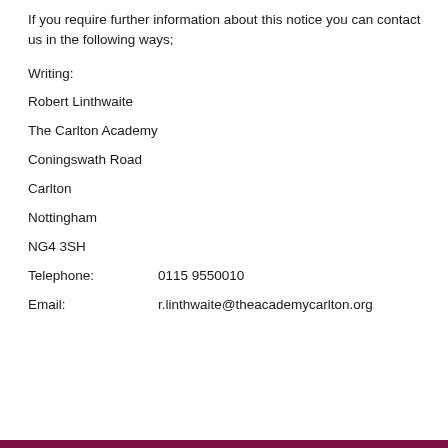If you require further information about this notice you can contact us in the following ways;
Writing:
Robert Linthwaite
The Carlton Academy
Coningswath Road
Carlton
Nottingham
NG4 3SH
Telephone:        0115 9550010
Email:              r.linthwaite@theacademycarlton.org